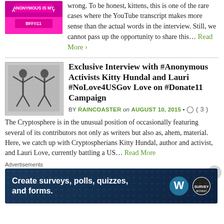[Figure (photo): Pink image with text 'ANONYMOUS IS MY BFF!!11']
wrong. To be honest, kittens, this is one of the rare cases where the YouTube transcript makes more sense than the actual words in the interview. Still, we cannot pass up the opportunity to share this…
Read More ›
Exclusive Interview with #Anonymous Activists Kitty Hundal and Lauri #NoLove4USGov Love on #Donate11 Campaign
BY RAINCOASTER on AUGUST 10, 2015 • ( 3 )
[Figure (illustration): Grayscale illustration of figures with raised arms made of text/ASCII art]
The Cryptosphere is in the unusual position of occasionally featuring several of its contributors not only as writers but also as, ahem, material. Here, we catch up with Cryptospherians Kitty Hundal, author and activist, and Lauri Love, currently battling a US…
Read More
Advertisements
[Figure (infographic): WordPress advertisement banner: Create surveys, polls, quizzes, and forms.]